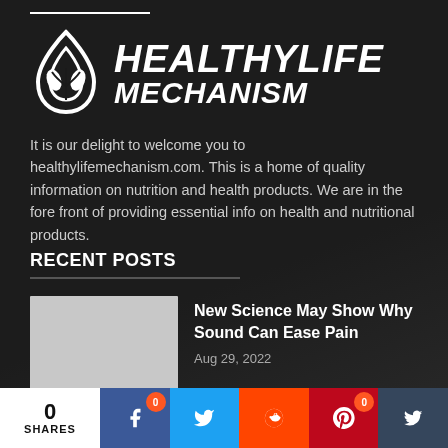[Figure (logo): HealthyLife Mechanism logo with leaf/drop icon and bold italic text on dark background]
It is our delight to welcome you to healthylifemechanism.com. This is a home of quality information on nutrition and health products. We are in the fore front of providing essential info on health and nutritional products.
RECENT POSTS
New Science May Show Why Sound Can Ease Pain
Aug 29, 2022
0 SHARES | Facebook 0 | Twitter | Reddit | Pinterest 0 | Tumblr